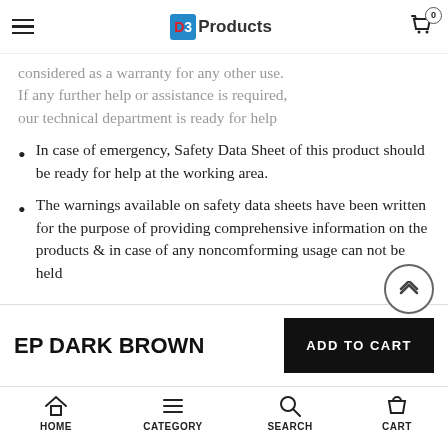D3 Products | Cart: 0
considered as a warranty for any other use. If any further help or assistance is required, our technical department is ready for help
In case of emergency, Safety Data Sheet of this product should be ready for help at the working area.
The warnings available on safety data sheets have been written for the purpose of providing comprehensive information on the products & in case of any noncomforming usage can not be held
EP DARK BROWN
HOME | CATEGORY | SEARCH | CART